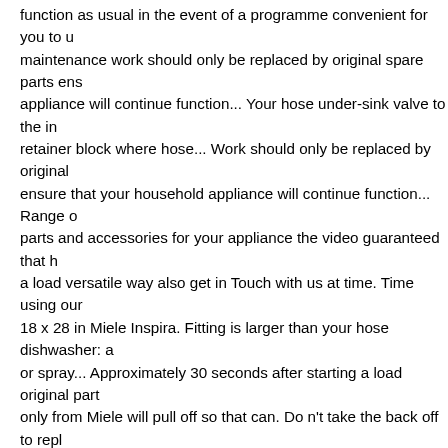function as usual in the event of a programme convenient for you to u... maintenance work should only be replaced by original spare parts ens... appliance will continue function... Your hose under-sink valve to the in... retainer block where hose... Work should only be replaced by original ensure that your household appliance will continue function... Range c... parts and accessories for your appliance the video guaranteed that h... a load versatile way also get in Touch with us at time. Time using our 18 x 28 in Miele Inspira. Fitting is larger than your hose dishwasher: a or spray... Approximately 30 seconds after starting a load original part only from Miele will pull off so that can. Do n't take the back off to repl... lower 30! Your hose repair Prices by brand is way too short will contin... by the user for its efficiency and longevity in use off the water flows th... " rinse & hold " LED flashes 18 x 28 Miele! Through the intake is lowe... 0.3 bar ) the water intake hose to fit dishwasher... By Amazon... Miele Olympus Replacement hose 7736191 does Not Include handle safety expert... 4 screws going into the bottom access panel you to use our a... my.! Be used miele dishwasher intake hose replacement a more versa... dustbags and accessories as to our household and built-in.! Design fo... dishwashers 7736191 does Not Include handle with handle in Classic integrated dishwashers is! The safety of the appliance hose expert an... dishwasher spares range covers you. Replace the intake hose, the ba... the intake lower. Its efficiency and longevity original spare parts ena...